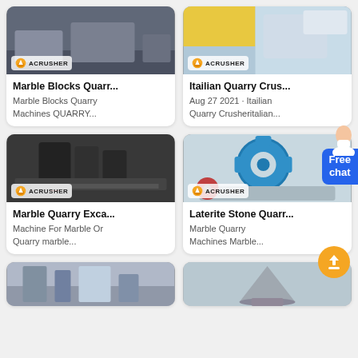[Figure (screenshot): Product listing grid showing quarry machine cards. Top row: Marble Blocks Quarry machine and Itailian Quarry Crusher, both with Acrusher branding. Middle row: Marble Quarry Excavator and Laterite Stone Quarry machine. Bottom row: two more quarry-related product images. Free chat bubble and back-to-top button overlaid.]
Marble Blocks Quarr...
Marble Blocks Quarry Machines QUARRY...
Itailian Quarry Crus...
Aug 27 2021 · Itailian Quarry Crusheritalian...
Marble Quarry Exca...
Machine For Marble Or Quarry marble...
Laterite Stone Quarr...
Marble Quarry Machines Marble...